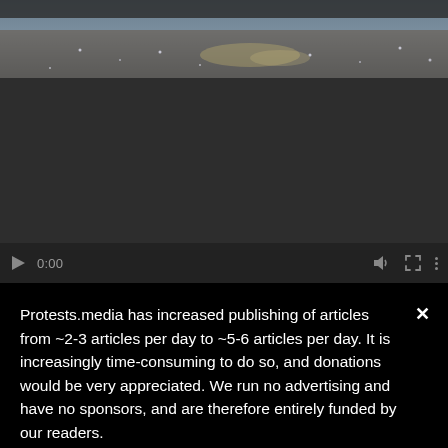[Figure (photo): Photograph showing broken glass scattered on a wooden floor near a window or glass door. The image is cropped at the top, showing the lower portion of the scene with debris and shattered glass.]
[Figure (screenshot): Video player UI showing a dark/black video frame with playback controls at the bottom: a play button, timestamp showing 0:00, volume icon, fullscreen icon, and more options (three dots) icon.]
Protests.media has increased publishing of articles from ~2-3 articles per day to ~5-6 articles per day. It is increasingly time-consuming to do so, and donations would be very appreciated. We run no advertising and have no sponsors, and are therefore entirely funded by our readers.
Patreon